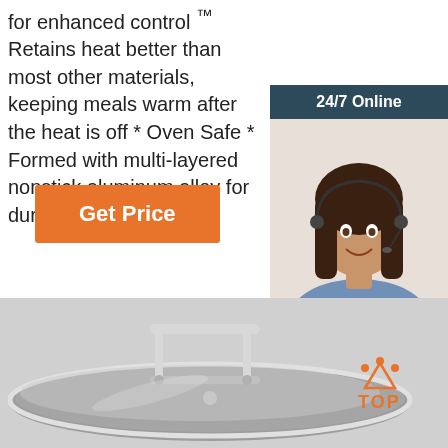for enhanced control * Retains heat better than most other materials, keeping meals warm after the heat is off * Oven Safe * Formed with multi-layered nonstick aluminum alloy for durability * Even heat ...
[Figure (other): Orange 'Get Price' button]
[Figure (other): Sidebar with customer service agent photo, '24/7 Online' header, 'Click here for free chat!' text, and orange QUOTATION button]
[Figure (photo): Stainless steel cookware pan with glass lid and double bar handle, shot from above at an angle on gray background, with orange TOP logo in bottom right]